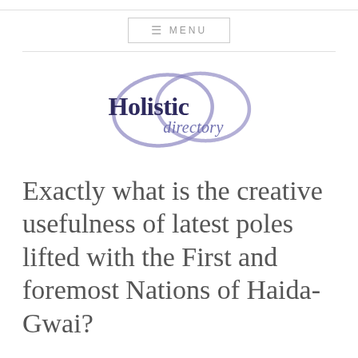[Figure (logo): Holistic Directory logo: two overlapping ellipses in purple-blue brushstroke style, with 'Holistic' in bold dark navy serif and 'directory' in lighter purple script below]
Exactly what is the creative usefulness of latest poles lifted with the First and foremost Nations of Haida-Gwai?